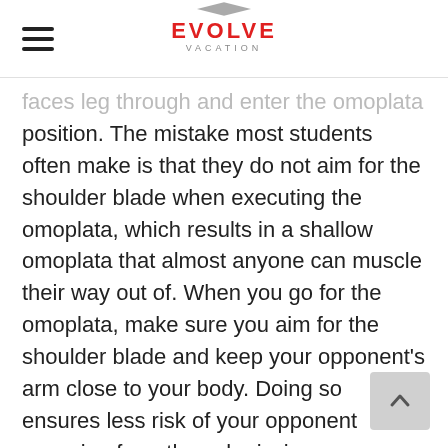EVOLVE VACATION
faces leg through and enter the omoplata position. The mistake most students often make is that they do not aim for the shoulder blade when executing the omoplata, which results in a shallow omoplata that almost anyone can muscle their way out of. When you go for the omoplata, make sure you aim for the shoulder blade and keep your opponent’s arm close to your body. Doing so ensures less risk of your opponent escaping from the submission.